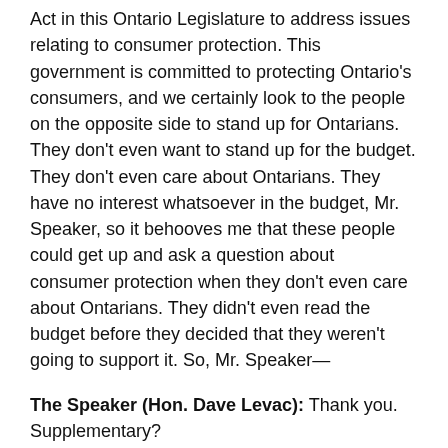Act in this Ontario Legislature to address issues relating to consumer protection. This government is committed to protecting Ontario's consumers, and we certainly look to the people on the opposite side to stand up for Ontarians. They don't even want to stand up for the budget. They don't even care about Ontarians. They have no interest whatsoever in the budget, Mr. Speaker, so it behooves me that these people could get up and ask a question about consumer protection when they don't even care about Ontarians. They didn't even read the budget before they decided that they weren't going to support it. So, Mr. Speaker—
The Speaker (Hon. Dave Levac): Thank you. Supplementary?
Mr. Steve Clark: I appreciate it, Minister. This is a very touchy subject and difficult for you to answer. After all, it was your government who hit motorists with an 8% overnight increase thanks to the hated HST. No one knows